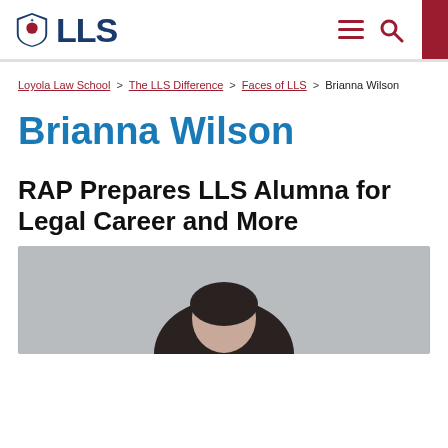LLS — Loyola Law School
Loyola Law School > The LLS Difference > Faces of LLS > Brianna Wilson
Brianna Wilson
RAP Prepares LLS Alumna for Legal Career and More
[Figure (photo): Photo of Brianna Wilson, partial view showing top of head with dark hair against gray background]